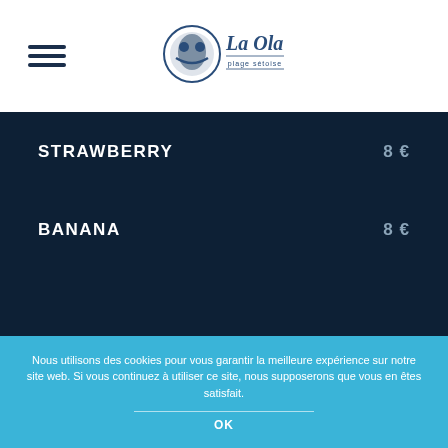[Figure (logo): La Ola plage sétoise logo with circular wave graphic and stylized text]
STRAWBERRY  8 €
BANANA  8 €
Nous utilisons des cookies pour vous garantir la meilleure expérience sur notre site web. Si vous continuez à utiliser ce site, nous supposerons que vous en êtes satisfait.
OK